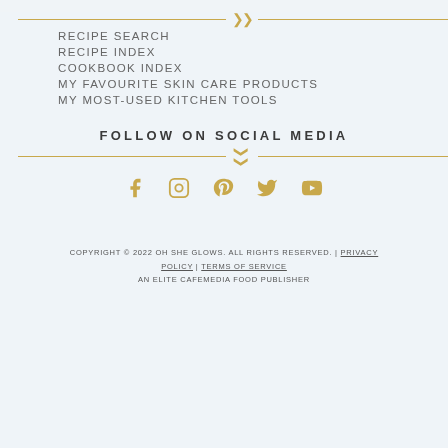RECIPE SEARCH
RECIPE INDEX
COOKBOOK INDEX
MY FAVOURITE SKIN CARE PRODUCTS
MY MOST-USED KITCHEN TOOLS
FOLLOW ON SOCIAL MEDIA
[Figure (infographic): Social media icons: Facebook, Instagram, Pinterest, Twitter, YouTube in gold color]
COPYRIGHT © 2022 OH SHE GLOWS. ALL RIGHTS RESERVED. | PRIVACY POLICY | TERMS OF SERVICE
AN ELITE CAFEMEDIA FOOD PUBLISHER